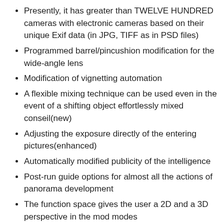Presently, it has greater than TWELVE HUNDRED cameras with electronic cameras based on their unique Exif data (in JPG, TIFF as in PSD files)
Programmed barrel/pincushion modification for the wide-angle lens
Modification of vignetting automation
A flexible mixing technique can be used even in the event of a shifting object effortlessly mixed conseil(new)
Adjusting the exposure directly of the entering pictures(enhanced)
Automatically modified publicity of the intelligence
Post-run guide options for almost all the actions of panorama development
The function space gives the user a 2D and a 3D perspective in the mod modes
Handle point publisher